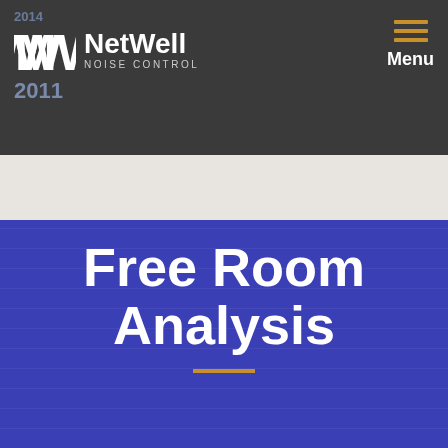2014 NetWell NOISE CONTROL
2011
Free Room Analysis
Our popular Room Analysis is complimentary. This innovative tool is designed to define the framework